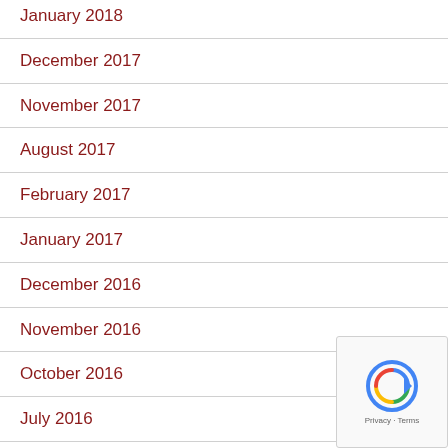January 2018
December 2017
November 2017
August 2017
February 2017
January 2017
December 2016
November 2016
October 2016
July 2016
June 2016
April 2016